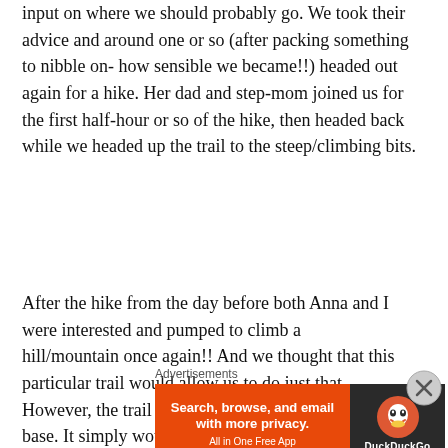input on where we should probably go. We took their advice and around one or so (after packing something to nibble on- how sensible we became!!) headed out again for a hike. Her dad and step-mom joined us for the first half-hour or so of the hike, then headed back while we headed up the trail to the steep/climbing bits.
After the hike from the day before both Anna and I were interested and pumped to climb a hill/mountain once again!! And we thought that this particular trail would allow us to do just that... However, the trail never really led to any mountain base. It simply wound around the base of several mountains. Each time we tried to get to a base we were cut off by marshes or terrain so thick with heather/brush that who knew what was under! Finally we did come to the end of the trail that basically dead-ended on the tip of a kind of peninsula. Yet we
Advertisements
[Figure (other): DuckDuckGo advertisement banner: orange left section with text 'Search, browse, and email with more privacy. All in One Free App' and dark right section with DuckDuckGo duck logo and brand name.]